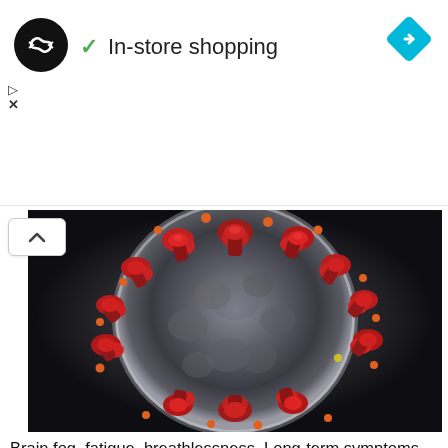[Figure (screenshot): Advertisement banner showing a black circular logo with infinity-like arrows symbol, a green checkmark, text 'In-store shopping', a cyan/blue diamond navigation icon on the right, and small play/close icons on the left side below the logo.]
[Figure (photo): Close-up microscope image of a coronavirus (SARS-CoV-2) particle showing a spherical gray body covered with red spike proteins and orange-tipped protrusions on a dark background.]
Brain fog, fatigue, breathlessness. Long-term symptoms linger on for many coronavirus victims
July 19, 2020
[Figure (photo): Partial image showing a person in front of a sign with large teal text letters, with a red scroll-up button in the lower right corner.]